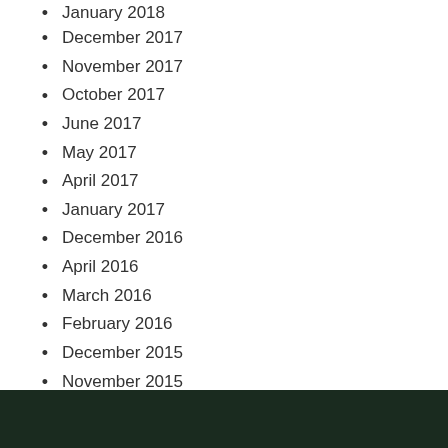January 2018 (truncated/partial)
December 2017
November 2017
October 2017
June 2017
May 2017
April 2017
January 2017
December 2016
April 2016
March 2016
February 2016
December 2015
November 2015
October 2015
August 2015
April 2015
February 2015
January 2015